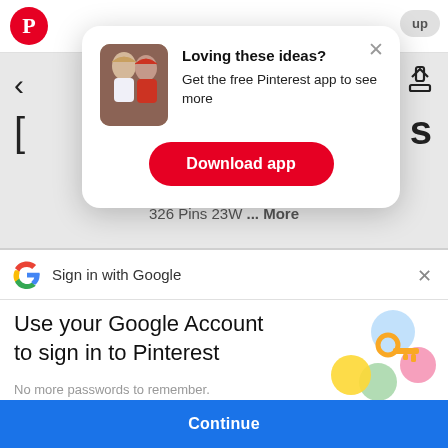[Figure (screenshot): Pinterest app header with logo and 'up' button]
[Figure (screenshot): Pinterest modal popup with thumbnail image of two women, text 'Loving these ideas? Get the free Pinterest app to see more' and red 'Download app' button]
326 Pins 23W ... More
[Figure (screenshot): Google sign-in bar with Google G logo and 'Sign in with Google' text with X close button]
Use your Google Account to sign in to Pinterest
No more passwords to remember. Signing in is fast, simple and secure.
[Figure (illustration): Colorful keys and circles illustration for Google account sign-in]
Continue